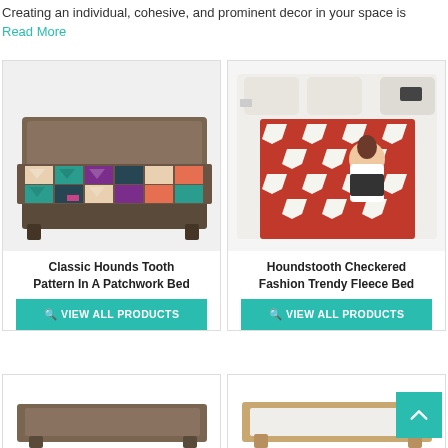Creating an individual, cohesive, and prominent decor in your space is
Read More
[Figure (photo): Classic Hounds Tooth Pattern In A Patchwork Bed - colorful houndstooth patterned bedding on a dark wood bed frame, viewed from a slight angle]
Classic Hounds Tooth Pattern In A Patchwork Bed
VIEW ALL PRODUCTS
[Figure (photo): Houndstooth Checkered Fashion Trendy Fleece Bed - woman sitting on a white bed with red/white houndstooth throw blanket, aerial view]
Houndstooth Checkered Fashion Trendy Fleece Bed
VIEW ALL PRODUCTS
[Figure (photo): Partial view of a dark wood bed frame, bottom portion visible]
[Figure (photo): Partial view of a light wood bed frame with white bedding, bottom portion visible]